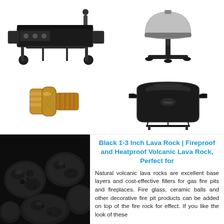[Figure (photo): Black flat top griddle grill with four burners on wheeled cart]
[Figure (photo): Silver dome-shaped electric grill on tall stand with cross base]
[Figure (photo): Gold/brass metal hose connector fitting]
[Figure (photo): Black grill cover/protective cover for large gas grill]
[Figure (photo): Black volcanic lava rocks closeup]
Black 1-3 Inch Lava Rock | Fireproof and Heatproof Volcanic Lava Rock, Perfect for
Natural volcanic lava rocks are excellent base layers and cost-effective fillers for gas fire pits and fireplaces. Fire glass, ceramic balls and other decorative fire pit products can be added on top of the fire rock for effect. If you like the look of these